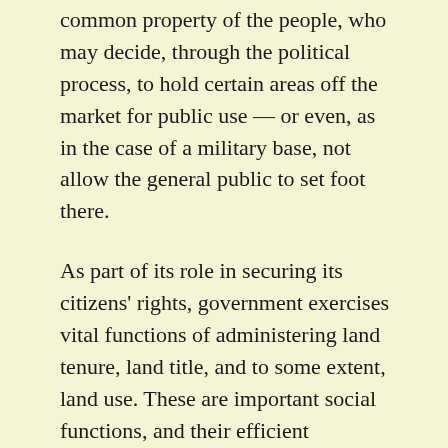common property of the people, who may decide, through the political process, to hold certain areas off the market for public use — or even, as in the case of a military base, not allow the general public to set foot there.
As part of its role in securing its citizens' rights, government exercises vital functions of administering land tenure, land title, and to some extent, land use. These are important social functions, and their efficient provision tends to increase land values. (Land for comparable uses tends to have a lower value under governments that fail to provide secure tenure or efficient record-keeping.) In a